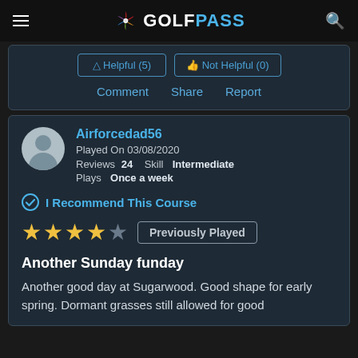GOLFPASS
Comment   Share   Report
Airforcedad56
Played On 03/08/2020
Reviews 24   Skill Intermediate
Plays Once a week
I Recommend This Course
★★★★☆   Previously Played
Another Sunday funday
Another good day at Sugarwood. Good shape for early spring. Dormant grasses still allowed for good